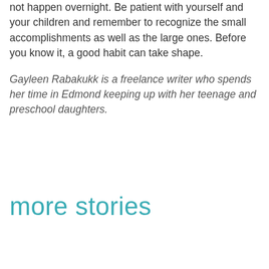not happen overnight. Be patient with yourself and your children and remember to recognize the small accomplishments as well as the large ones. Before you know it, a good habit can take shape.
Gayleen Rabakukk is a freelance writer who spends her time in Edmond keeping up with her teenage and preschool daughters.
more stories